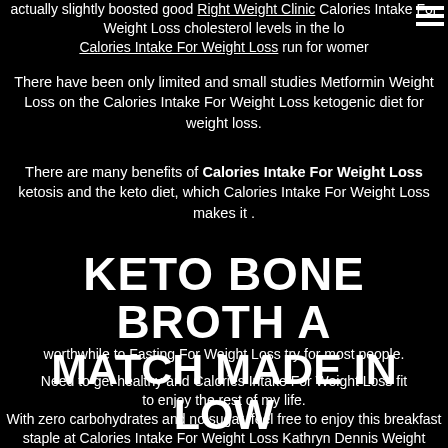actually slightly boosted good Right Weight Clinic Calories Intake For Weight Loss cholesterol levels in the lo Calories Intake For Weight Loss run for women
There have been only limited and small studies Metformin Weight Loss on the Calories Intake For Weight Loss ketogenic diet for weight loss.
There are many benefits of Calories Intake For Weight Loss ketosis and the keto diet, which Calories Intake For Weight Loss makes it .
KETO BONE BROTH A MATCH MADE IN LOW
worthwhile to Fasting For Weight Loss try for most people.
Need to get healthy and Calories Intake For Weight Loss fit to enjoy the rest of my life.
With zero carbohydrates and no sugar, feel free to enjoy this breakfast staple at Calories Intake For Weight Loss Kathryn Dennis Weight Loss Jonah Hill Weight Loss all